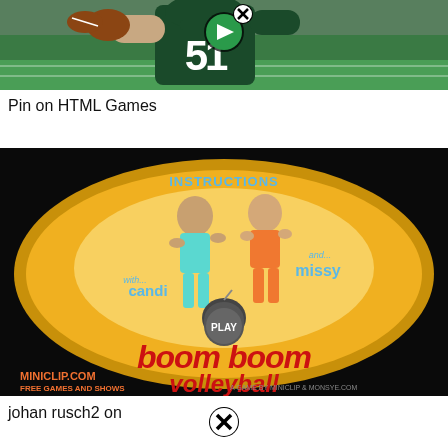[Figure (screenshot): Screenshot of a football game showing a player in a teal jersey number 51 throwing a football, with a play button overlay and close button icon]
Pin on HTML Games
[Figure (screenshot): Screenshot of Boom Boom Volleyball game by Miniclip.com featuring two cartoon female characters Candi and Missy in bikinis on a gold oval background with red text 'boom boom volleyball', PLAY button, and INSTRUCTIONS link]
johan rusch2 on